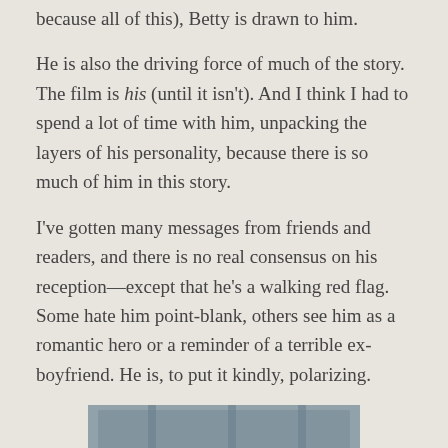because all of this), Betty is drawn to him.
He is also the driving force of much of the story. The film is his (until it isn't). And I think I had to spend a lot of time with him, unpacking the layers of his personality, because there is so much of him in this story.
I've gotten many messages from friends and readers, and there is no real consensus on his reception—except that he's a walking red flag. Some hate him point-blank, others see him as a romantic hero or a reminder of a terrible ex-boyfriend. He is, to put it kindly, polarizing.
[Figure (photo): A group photo of approximately 15 people posing together outdoors in front of what appears to be a wooden building or barn structure.]